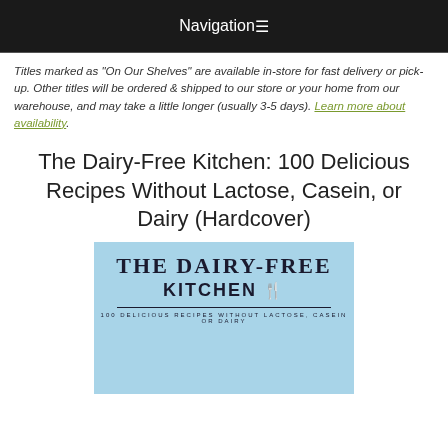Navigation
Titles marked as "On Our Shelves" are available in-store for fast delivery or pick-up. Other titles will be ordered & shipped to our store or your home from our warehouse, and may take a little longer (usually 3-5 days). Learn more about availability.
The Dairy-Free Kitchen: 100 Delicious Recipes Without Lactose, Casein, or Dairy (Hardcover)
[Figure (photo): Book cover of The Dairy-Free Kitchen showing light blue background with title text 'THE DAIRY-FREE KITCHEN' in large bold serif font with fork and knife icon, subtitle '100 DELICIOUS RECIPES WITHOUT LACTOSE, CASEIN OR DAIRY' beneath a horizontal rule]